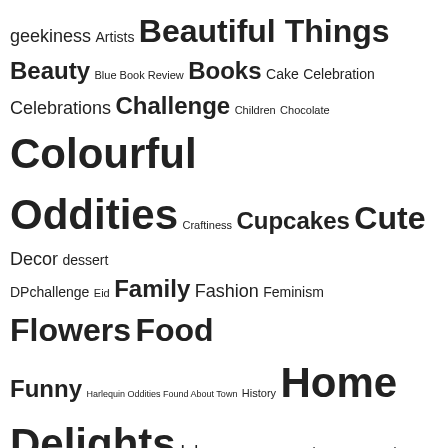[Figure (infographic): A tag cloud / word cloud showing various blog or content categories in different font sizes indicating frequency/popularity. Tags include: geekiness, Artists, Beautiful Things, Beauty, Blue Book Review, Books, Cake, Celebration, Celebrations, Challenge, Children, Chocolate, Colourful Oddities, Craftiness, Cupcakes, Cute, Decor, dessert, DPchallenge, Eid, Family, Fashion, Feminism, Flowers, Food, Funny, Harlequin Oddities Found About Town, History, Home Delights, Islam, Jewellery, Journal Your Ramadan, Journeys, Landmarks, Landscapes, Light, Lights, Links, London, Love, Luxury, Mehndi, Memory, Monday, Nature, News, Painting, Parksies, Philosophy, Photography, Pink, postaday, Quirky, Rainbows, Ramadan, Restaurants, Sisters, Sparkly Things, Street Art, Summer, Sunset, Sweets, Tea Parties]